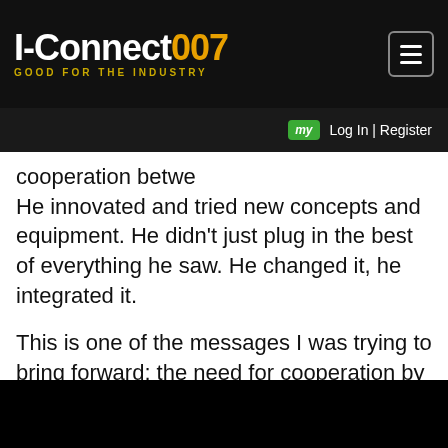I-Connect007 GOOD FOR THE INDUSTRY
cooperation betwe... Log In | Register
He innovated and tried new concepts and equipment. He didn't just plug in the best of everything he saw. He changed it, he integrated it.
This is one of the messages I was trying to bring forward: the need for cooperation by the smaller companies to offset the activities of larger ones integrating more fully as they focused on the bigger customers. The remainder must get together. In fact, I have proposed several times the idea of a buyers'